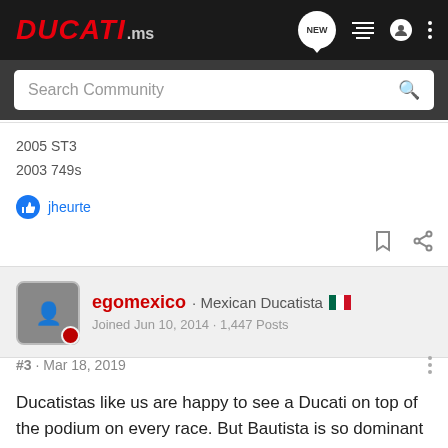DUCATI.ms
Search Community
2005 ST3
2003 749s
jheurte
egomexico · Mexican Ducatista
Joined Jun 10, 2014 · 1,447 Posts
#3 · Mar 18, 2019
Ducatistas like us are happy to see a Ducati on top of the podium on every race. But Bautista is so dominant now that Dorna will have to intervene for the sake of the show.